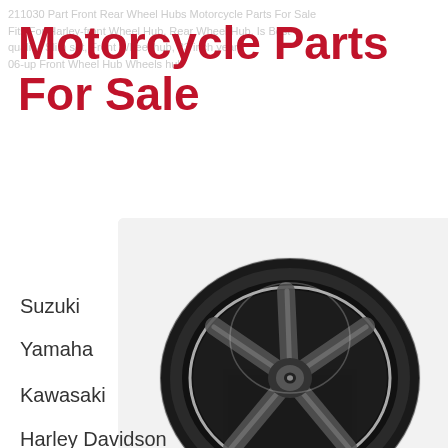Motorcycle Parts For Sale
Suzuki
Yamaha
Kawasaki
Harley Davidson
Harley
Vintage
[Figure (photo): Black motorcycle wheel with 5-spoke design and tire, partially visible at bottom right of page. Watermark 'RYD' visible in center of wheel.]